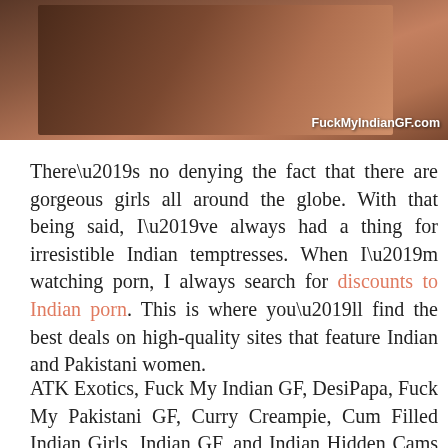[Figure (photo): Partial photo of a woman with a watermark reading 'FuckMyIndianGF.com' in white text at the bottom right.]
There’s no denying the fact that there are gorgeous girls all around the globe. With that being said, I’ve always had a thing for irresistible Indian temptresses. When I’m watching porn, I always search for discounts to Indian porn. This is where you’ll find the best deals on high-quality sites that feature Indian and Pakistani women.
ATK Exotics, Fuck My Indian GF, DesiPapa, Fuck My Pakistani GF, Curry Creampie, Cum Filled Indian Girls, Indian GF, and Indian Hidden Cams are just a few of the options you’ll find at your fingertips. Whether you’re wanting softcore content that allows you to soak up